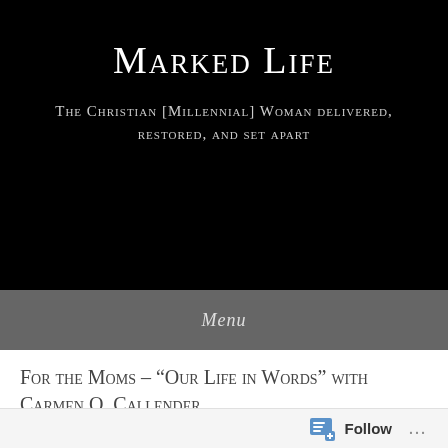Marked Life
The Christian [Millennial] Woman delivered, restored, and set apart
Menu
For the Moms – “Our Life in Words” with Carmen O. Callender
Posted on May 4, 2020 by Hannah Forbes-Smith
Follow